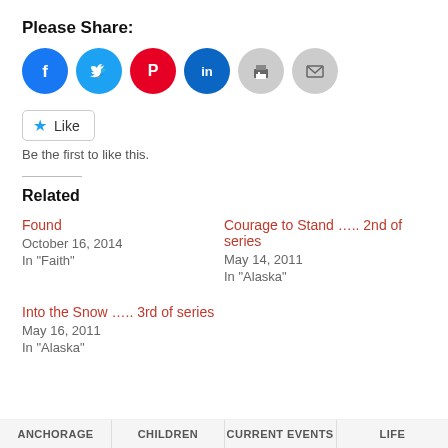Please Share:
[Figure (other): Social sharing icons: Facebook (blue), Twitter (light blue), Pinterest (red), LinkedIn (dark blue), Print (gray), Email (gray)]
Like  Be the first to like this.
Related
Found
October 16, 2014
In "Faith"
Courage to Stand ….. 2nd of series
May 14, 2011
In "Alaska"
Into the Snow ….. 3rd of series
May 16, 2011
In "Alaska"
ANCHORAGE  CHILDREN  CURRENT EVENTS  LIFE